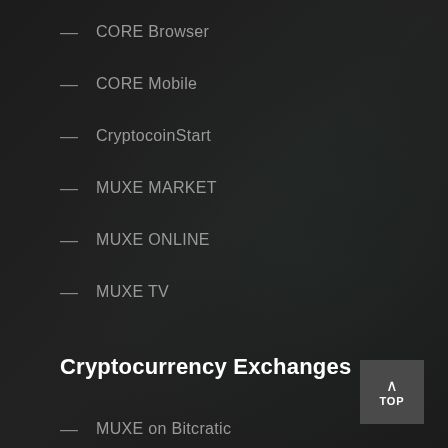– CORE Browser
– CORE Mobile
– CryptocoinStart
– MUXE MARKET
– MUXE ONLINE
– MUXE TV
Cryptocurrency Exchanges
– MUXE on Bitcratic
– MUXE on CryptalDash
– MUXE on Etherdelta
– MUXE on EtherFlyer
– MUXE on Evimeria coming soon
– MUXE on Ecex